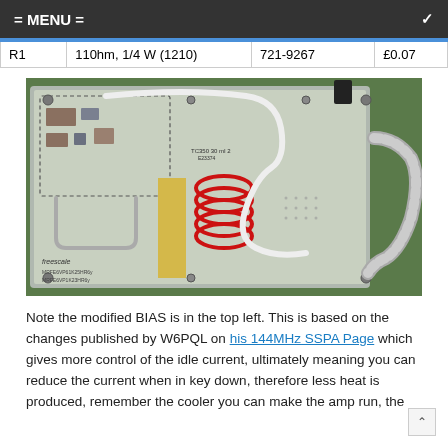= MENU =
| R1 | 110hm, 1/4 W (1210) | 721-9267 | £0.07 |
[Figure (photo): Top-down photograph of a Freescale RF power amplifier PCB board showing modified BIAS circuit in top left, red coil inductor in center, white coaxial cable routing, SMA connectors, and flexible conduit on the right side.]
Note the modified BIAS is in the top left. This is based on the changes published by W6PQL on his 144MHz SSPA Page which gives more control of the idle current, ultimately meaning you can reduce the current when in key down, therefore less heat is produced, remember the cooler you can make the amp run, the